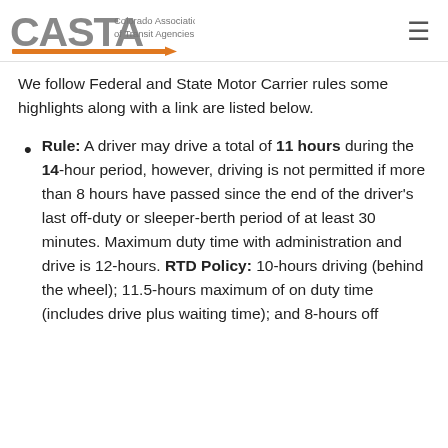CASTA — Colorado Association of Transit Agencies
We follow Federal and State Motor Carrier rules some highlights along with a link are listed below.
Rule: A driver may drive a total of 11 hours during the 14-hour period, however, driving is not permitted if more than 8 hours have passed since the end of the driver's last off-duty or sleeper-berth period of at least 30 minutes. Maximum duty time with administration and drive is 12-hours. RTD Policy: 10-hours driving (behind the wheel); 11.5-hours maximum of on duty time (includes drive plus waiting time); and 8-hours off...